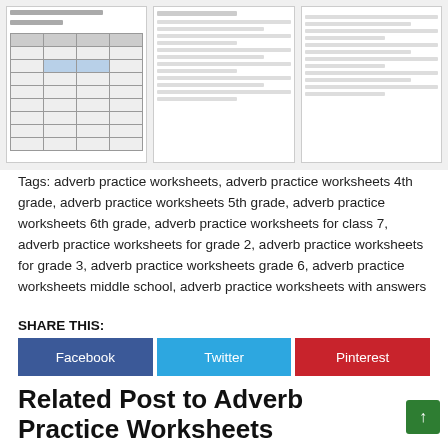[Figure (screenshot): Thumbnail preview of adverb practice worksheet pages showing tables and fill-in-the-blank exercises]
Tags: adverb practice worksheets, adverb practice worksheets 4th grade, adverb practice worksheets 5th grade, adverb practice worksheets 6th grade, adverb practice worksheets for class 7, adverb practice worksheets for grade 2, adverb practice worksheets for grade 3, adverb practice worksheets grade 6, adverb practice worksheets middle school, adverb practice worksheets with answers
SHARE THIS:
[Figure (infographic): Share buttons: Facebook (blue), Twitter (light blue), Pinterest (red)]
Related Post to Adverb Practice Worksheets